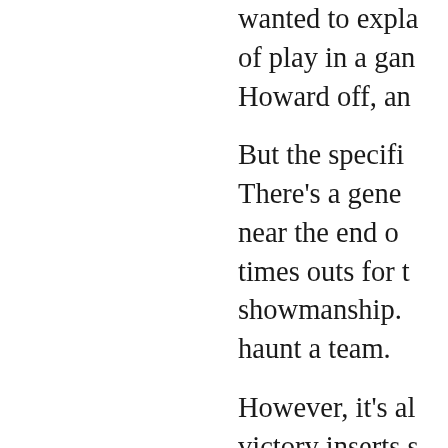wanted to expla of play in a gan Howard off, an But the specifi There's a gene near the end o times outs for t showmanship. haunt a team. However, it's al victory inserts s game as a rew helps with thei accurate. But t the clock run o It turns out, Ga advise his back players were m hound the guy leaves one or t can get the bal